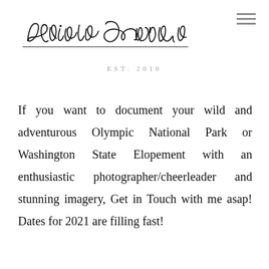[Figure (logo): Cursive handwritten signature logo reading 'adrien craven']
EST. 2010
If you want to document your wild and adventurous Olympic National Park or Washington State Elopement with an enthusiastic photographer/cheerleader and stunning imagery, Get in Touch with me asap! Dates for 2021 are filling fast!